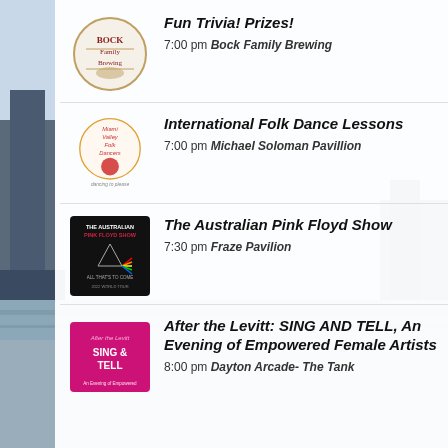Fun Trivia! Prizes!
7:00 pm Bock Family Brewing
International Folk Dance Lessons
7:00 pm Michael Soloman Pavillion
The Australian Pink Floyd Show
7:30 pm Fraze Pavilion
After the Levitt: SING AND TELL, An Evening of Empowered Female Artists
8:00 pm Dayton Arcade- The Tank